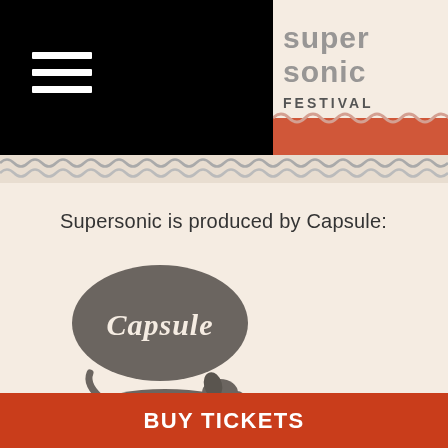[Figure (logo): Supersonic Festival logo in top right corner with stylized text 'supersonic festival']
[Figure (illustration): Decorative wavy/scalloped border pattern in grey tones]
Supersonic is produced by Capsule:
[Figure (logo): Capsule logo: oval speech bubble with 'Capsule' script text above a dachshund dog silhouette]
Unit 317, Zellig
Gibb Street
Birmingham UK
B9 4AT
BUY TICKETS